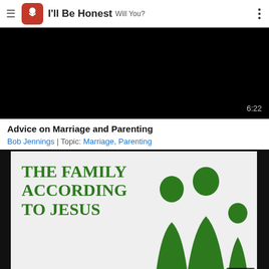I'll Be Honest Will You?
[Figure (screenshot): Black video player with timestamp 6:22 in bottom right corner]
Advice on Marriage and Parenting
Bob Jennings | Topic: Marriage, Parenting
[Figure (screenshot): Video thumbnail showing 'The Family According to Jesus' text in green serif font with green family silhouette on right side. Timestamp 1:31:42 in bottom right.]